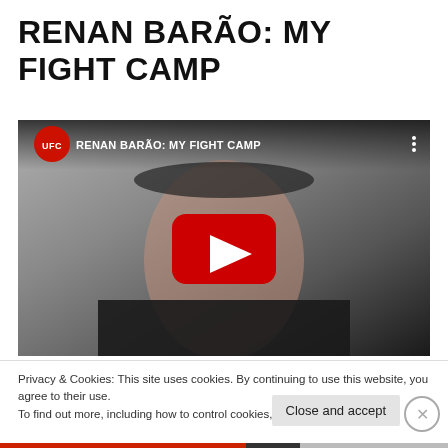RENAN BARÃO: MY FIGHT CAMP
[Figure (screenshot): YouTube video embed showing UFC video titled 'RENAN BARÃO: MY FIGHT CAMP' with a close-up face of a male fighter, UFC logo in top-left, and a red YouTube play button in the center.]
Privacy & Cookies: This site uses cookies. By continuing to use this website, you agree to their use.
To find out more, including how to control cookies, see here: Cookie Policy